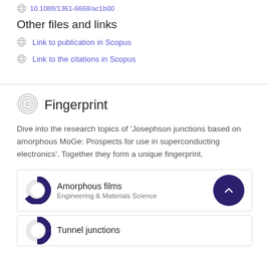10.1088/1361-6668/ac1b00
Other files and links
Link to publication in Scopus
Link to the citations in Scopus
Fingerprint
Dive into the research topics of 'Josephson junctions based on amorphous MoGe: Prospects for use in superconducting electronics'. Together they form a unique fingerprint.
Amorphous films
Engineering & Materials Science
Tunnel junctions